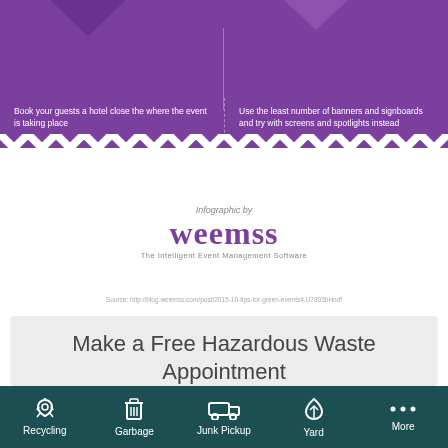[Figure (infographic): Purple infographic strip showing two tips about green events: booking guests hotel close to event venue, and using least number of banners/signboards and trying screens/spotlights instead. Weemss logo and branding below.]
Infographic by weemss - The Intelligent Event Management Software
Source: http://blog.weemss.com/post/2015-10-tips-for-green-events#.U7803bHndf
Make a Free Hazardous Waste Appointment
Call (408) 299-7300 or schedule an appointment online to drop off household hazardous waste.
Recycling | Garbage | Junk Pickup | Yard | More